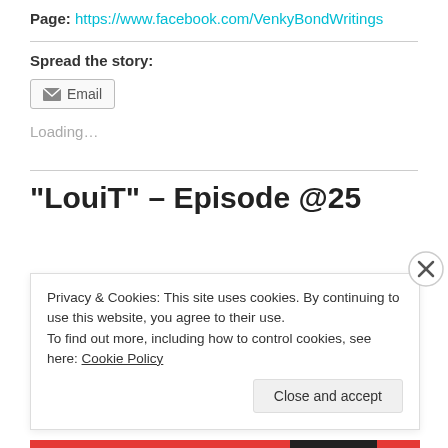Page: https://www.facebook.com/VenkyBondWritings
Spread the story:
Email
Loading...
“LouiT” – Episode @25
Privacy & Cookies: This site uses cookies. By continuing to use this website, you agree to their use.
To find out more, including how to control cookies, see here: Cookie Policy
Close and accept